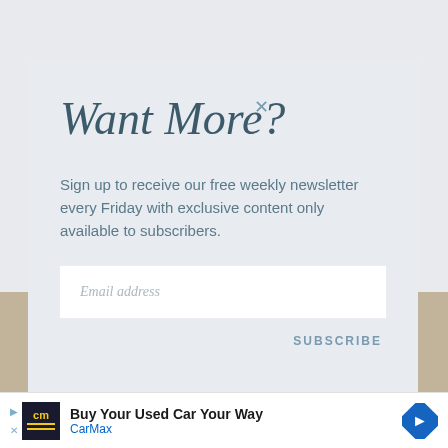Want More?
Sign up to receive our free weekly newsletter every Friday with exclusive content only available to subscribers.
Email address
SUBSCRIBE
[Figure (infographic): Advertisement banner: CarMax - Buy Your Used Car Your Way]
Buy Your Used Car Your Way CarMax